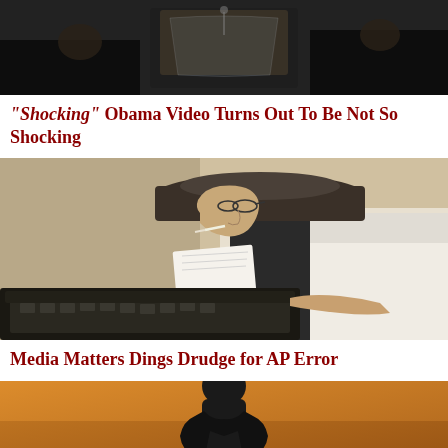[Figure (photo): Top portion of an image showing a podium or lectern scene with dark background, appears to be a political or public speaking event]
“Shocking” Obama Video Turns Out To Be Not So Shocking
[Figure (photo): Black and white photograph of a journalist wearing a hat and glasses, smoking a cigarette while working at a typewriter, reading a sheet of paper]
Media Matters Dings Drudge for AP Error
[Figure (photo): Silhouette of a person against a warm orange/amber background, bottom portion of image visible]